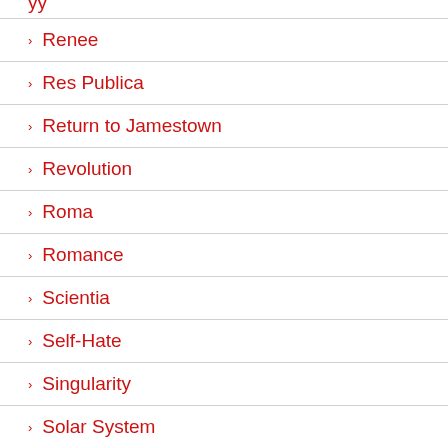Renee
Res Publica
Return to Jamestown
Revolution
Roma
Romance
Scientia
Self-Hate
Singularity
Solar System